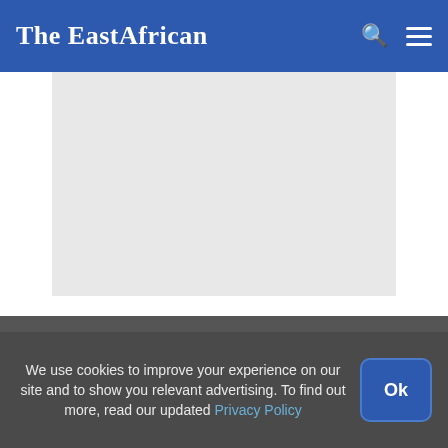The EastAfrican
[Figure (other): Grey advertisement or image placeholder box]
NEWS
East Africa
Rest Of Africa
BUSINESS
OPINION
We use cookies to improve your experience on our site and to show you relevant advertising. To find out more, read our updated Privacy Policy